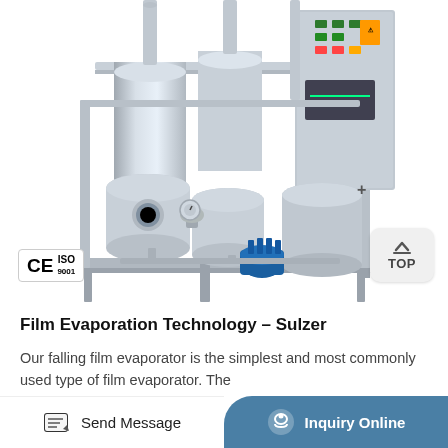[Figure (photo): Stainless steel falling film evaporator industrial equipment with multiple cylindrical vessels, pipes, a blue pump, and a control panel with buttons, mounted on a rectangular metal frame. CE and ISO certification badges visible in bottom-left corner.]
Film Evaporation Technology - Sulzer
Our falling film evaporator is the simplest and most commonly used type of film evaporator. The